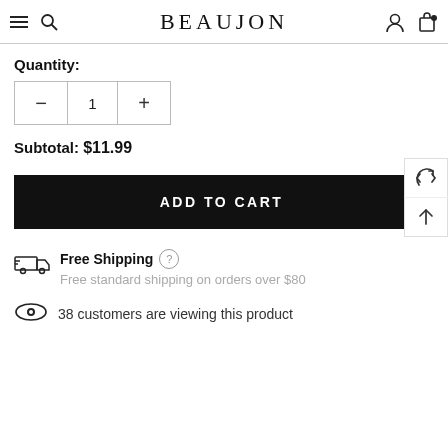BEAUJON
Quantity:
Subtotal: $11.99
ADD TO CART
Free Shipping
Free standard shipping on orders over $80
38 customers are viewing this product